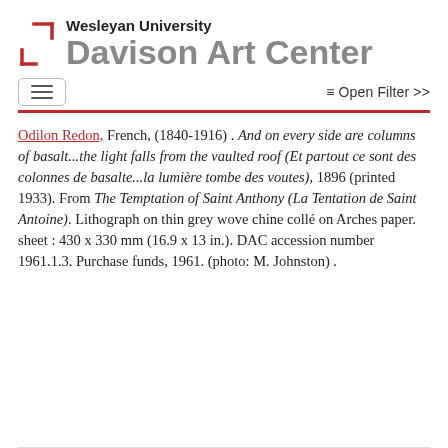Wesleyan University Davison Art Center
Odilon Redon, French, (1840-1916). And on every side are columns of basalt...the light falls from the vaulted roof (Et partout ce sont des colonnes de basalte...la lumière tombe des voutes), 1896 (printed 1933). From The Temptation of Saint Anthony (La Tentation de Saint Antoine). Lithograph on thin grey wove chine collé on Arches paper. sheet : 430 x 330 mm (16.9 x 13 in.). DAC accession number 1961.1.3. Purchase funds, 1961. (photo: M. Johnston).